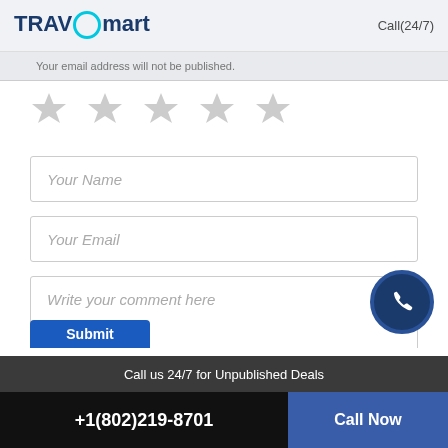TRAVOmart  Call(24/7)
Your email address will not be published.
[Figure (other): Five gray star rating icons in a row]
Your Name
Your Email
Write your comment here
Submit
Call us 24/7 for Unpublished Deals
+1(802)219-8701
Call Now